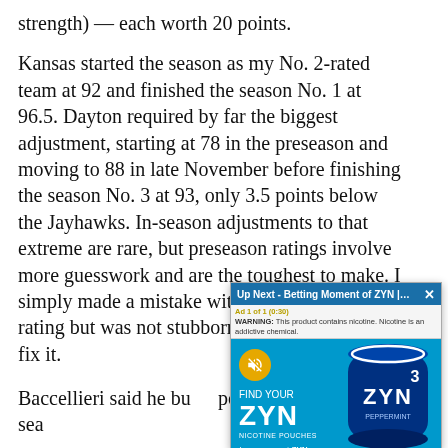strength) — each worth 20 points.
Kansas started the season as my No. 2-rated team at 92 and finished the season No. 1 at 96.5. Dayton required by far the biggest adjustment, starting at 78 in the preseason and moving to 88 in late November before finishing the season No. 3 at 93, only 3.5 points below the Jayhawks. In-season adjustments to that extreme are rare, but preseason ratings involve more guesswork and are the toughest to make. I simply made a mistake with the Flyers' first rating but was not stubborn and was quick to fix it.
Baccellieri said he bu... points during the sea...
"That's a big adjustme... overreacting," he said... ratings is not to overr...
[Figure (screenshot): Video ad overlay for ZYN nicotine pouches. Shows 'Up Next - Betting Moment of ZYN | Coll...' title bar with close button, a warning bar reading 'Ad 1 of 1 (0:30) WARNING: This product contains nicotine. Nicotine is an addictive chemical.', and the main ad body with a gold mute button, 'FIND YOUR ZYN NICOTINE POUCHES' text, 'Learn more at ZYN.com', and a ZYN product can image on dark blue background. Bottom bar reads 'ZYN.COM 3 ZYN'.]